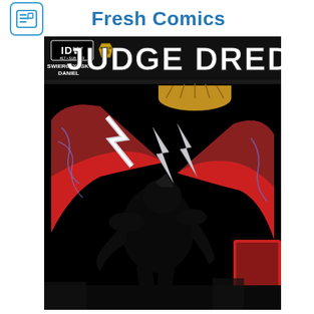Fresh Comics
[Figure (illustration): Comic book cover for IDW Judge Dredd issue #17. Features the title 'JUDGE DREDD' in large white letters at the top with the IDW logo and creators 'SWIERCZYNSKI / DANIEL' listed. The cover art shows a dark silhouetted figure of Judge Dredd in action against a black background with large red angular shapes (eagle wings), a golden dome above, and dramatic lightning bolt shapes in silver/white. The overall mood is dark and dramatic.]